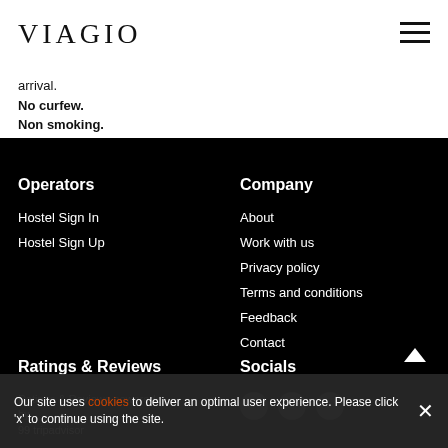VIAGIO
arrival.
No curfew.
Non smoking.
Operators
Hostel Sign In
Hostel Sign Up
Company
About
Work with us
Privacy policy
Terms and conditions
Feedback
Contact
Ratings & Reviews
Ratings & Reviews powered by
99 tripadvisor
Socials
Our site uses cookies to deliver an optimal user experience. Please click 'x' to continue using the site.